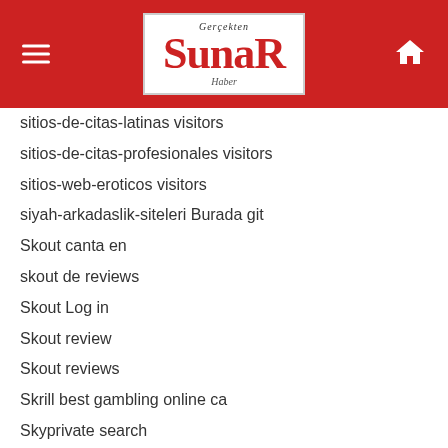SunaR Haber
sitios-de-citas-latinas visitors
sitios-de-citas-profesionales visitors
sitios-web-eroticos visitors
siyah-arkadaslik-siteleri Burada git
Skout canta en
skout de reviews
Skout Log in
Skout review
Skout reviews
Skrill best gambling online ca
Skyprivate search
SLS.com meaningful link
small payday loan
small payday loans
small payday loans online
small title loans
smore es reviews
SMore Estado en linea
smore pl review
smore review